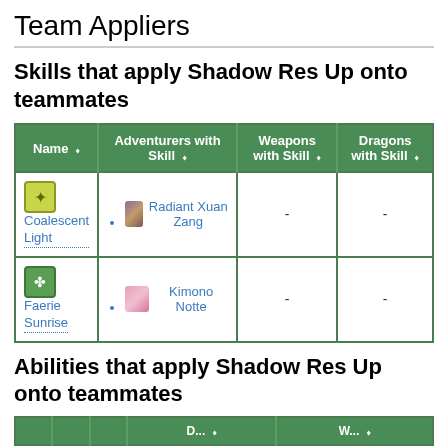Team Appliers
Skills that apply Shadow Res Up onto teammates
| Name | Adventurers with Skill | Weapons with Skill | Dragons with Skill |
| --- | --- | --- | --- |
| Coalescent Light | Radiant Xuan Zang | - | - |
| Faerie Sunrise | Kimono Notte | - | - |
Abilities that apply Shadow Res Up onto teammates